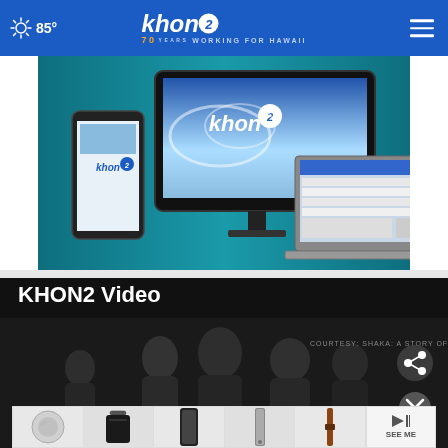85° khon2 Working for Hawaii
[Figure (screenshot): KHON2 promotional image showing smartphone, TV monitor, and laptop with KHON2 branding on teal background]
KHON2 Video
[Figure (screenshot): Dark video thumbnail section with silhouetted people, courtesy text 'COURTESY: SHAKA: A STORY OF ALOHA', share icon, and close button]
[Figure (screenshot): Advertisement banner showing product images (circular robot vacuum, black bag, phone cases, leather strap accessories) with 'SEE ME' button]